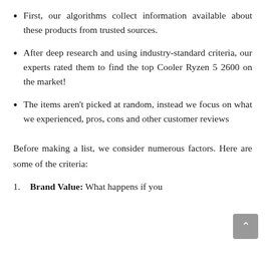First, our algorithms collect information available about these products from trusted sources.
After deep research and using industry-standard criteria, our experts rated them to find the top Cooler Ryzen 5 2600 on the market!
The items aren't picked at random, instead we focus on what we experienced, pros, cons and other customer reviews
Before making a list, we consider numerous factors. Here are some of the criteria:
Brand Value: What happens if you